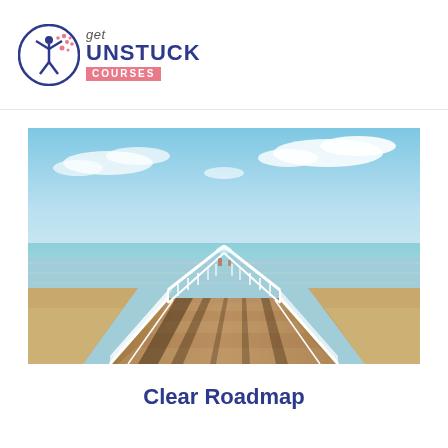get UNSTUCK COURSES
[Figure (photo): A long wooden pier with white railings extending straight out to sea under a blue sky with white clouds, viewed in perspective from close up. Sandy beach visible on either side at the near end.]
Clear Roadmap